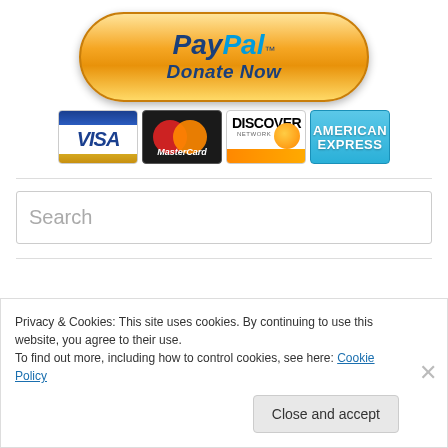[Figure (logo): PayPal Donate Now button — orange pill-shaped button with PayPal logo and Donate Now text]
[Figure (logo): Payment method logos: VISA, MasterCard, Discover Network, American Express]
Search
Privacy & Cookies: This site uses cookies. By continuing to use this website, you agree to their use.
To find out more, including how to control cookies, see here: Cookie Policy